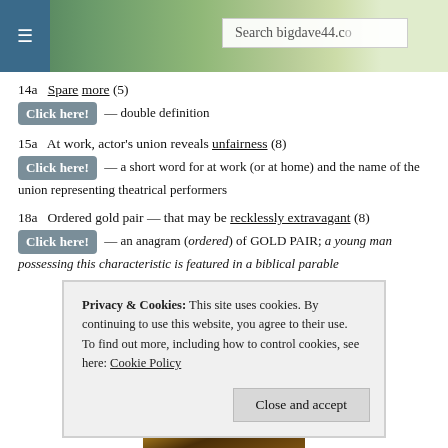[Figure (screenshot): Website header with hamburger menu icon on blue background, landscape photo of countryside, and search box showing 'Search bigdave44.c']
14a   Spare more (5)
Click here! — double definition
15a   At work, actor's union reveals unfairness (8)
Click here! — a short word for at work (or at home) and the name of the union representing theatrical performers
18a   Ordered gold pair — that may be recklessly extravagant (8)
Click here! — an anagram (ordered) of GOLD PAIR; a young man possessing this characteristic is featured in a biblical parable
Privacy & Cookies: This site uses cookies. By continuing to use this website, you agree to their use.
To find out more, including how to control cookies, see here: Cookie Policy
Close and accept
[Figure (photo): Small partial image at bottom center, appears to be a painting or illustration with golden/brown tones]